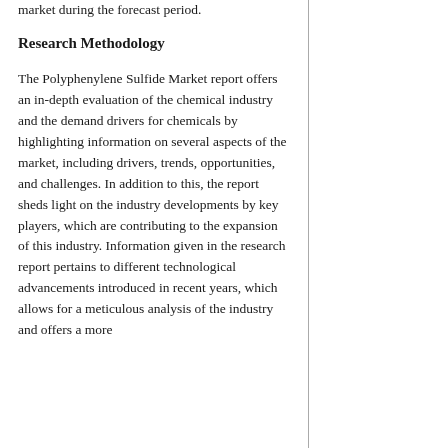market during the forecast period.
Research Methodology
The Polyphenylene Sulfide Market report offers an in-depth evaluation of the chemical industry and the demand drivers for chemicals by highlighting information on several aspects of the market, including drivers, trends, opportunities, and challenges. In addition to this, the report sheds light on the industry developments by key players, which are contributing to the expansion of this industry. Information given in the research report pertains to different technological advancements introduced in recent years, which allows for a meticulous analysis of the industry and offers a more